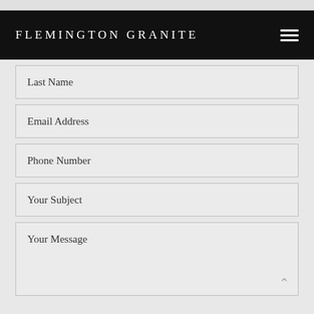FLEMINGTON GRANITE
Last Name
Email Address
Phone Number
Your Subject
Your Message